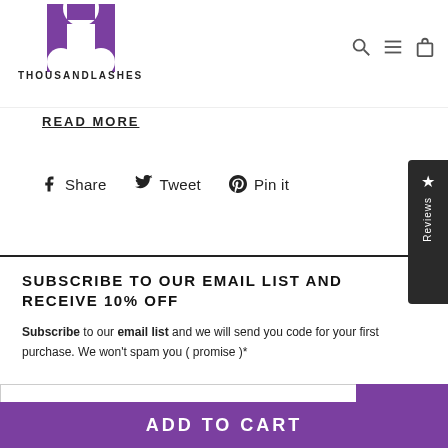[Figure (logo): ThousandLashes logo with purple T lettermark and brand name underneath]
READ MORE
Share  Tweet  Pin it
SUBSCRIBE TO OUR EMAIL LIST AND RECEIVE 10% OFF
Subscribe to our email list and we will send you code for your first purchase. We won't spam you ( promise )*
Enter your email
ADD TO CART